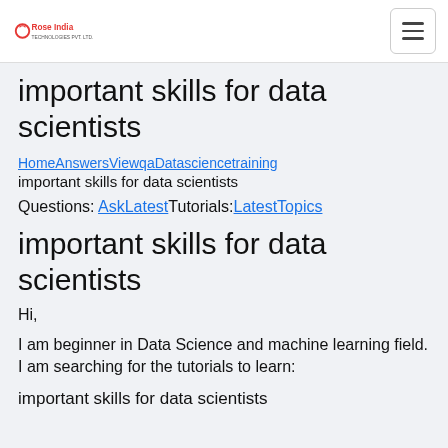Rose India [logo] [hamburger menu]
important skills for data scientists
HomeAnswersViewqaDatasciencetraining important skills for data scientists
Questions: AskLatestTutorials:LatestTopics
important skills for data scientists
Hi,
I am beginner in Data Science and machine learning field. I am searching for the tutorials to learn:
important skills for data scientists